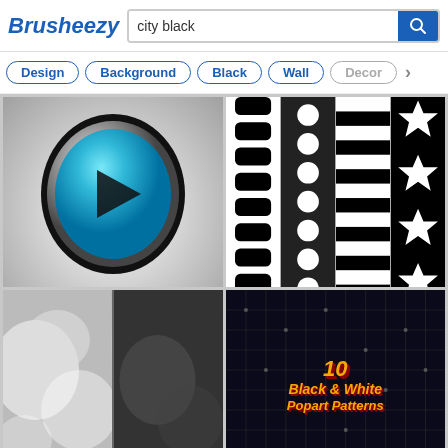Brusheezy — city black
Design
Background
Black
Wall
Decor
[Figure (illustration): Circular play button with cyan/blue gradient and black play triangle on grey background]
[Figure (illustration): Black & White decorative patterns in four columns with label 'BLACK & WHITE']
[Figure (photo): Two smoke/cloud texture panels — left light grey cloudy, right dark grey texture]
[Figure (illustration): Pop art style text reading '10 Black & White Popart Patterns' on dark patterned background]
Back To School Essentials
Leesburg Premium Outlets